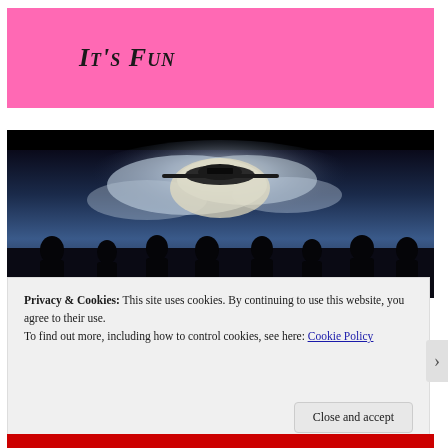It's Fun
[Figure (photo): Movie still showing silhouettes of people watching a large spacecraft or alien ship hovering in dramatic cloudy sky with bright light effects]
Privacy & Cookies: This site uses cookies. By continuing to use this website, you agree to their use.
To find out more, including how to control cookies, see here: Cookie Policy
Close and accept